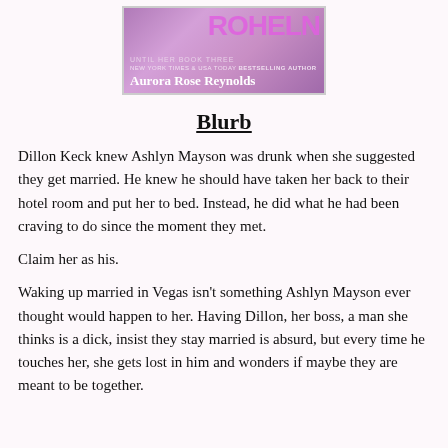[Figure (illustration): Book cover for 'Until Her Book Three' by New York Times & USA Today Bestselling Author Aurora Rose Reynolds, with a purple/pink gradient background and stylized title text.]
Blurb
Dillon Keck knew Ashlyn Mayson was drunk when she suggested they get married. He knew he should have taken her back to their hotel room and put her to bed. Instead, he did what he had been craving to do since the moment they met.
Claim her as his.
Waking up married in Vegas isn't something Ashlyn Mayson ever thought would happen to her. Having Dillon, her boss, a man she thinks is a dick, insist they stay married is absurd, but every time he touches her, she gets lost in him and wonders if maybe they are meant to be together.